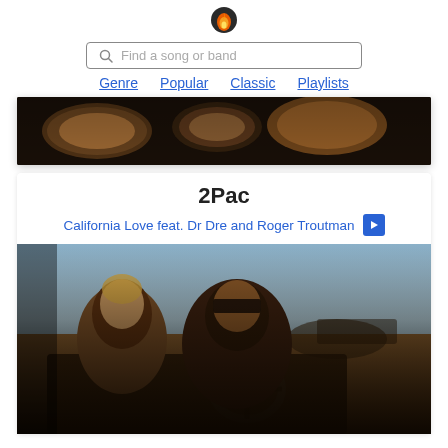[Figure (logo): Flame/fire emoji icon logo for music website]
[Figure (screenshot): Search bar with magnifying glass icon and placeholder text 'Find a song or band']
Genre   Popular   Classic   Playlists
[Figure (photo): Cropped photo showing musical instruments (drums/percussion) on dark background - top portion of previous entry]
2Pac
California Love feat. Dr Dre and Roger Troutman ►
[Figure (photo): Music video still from 2Pac California Love featuring a woman and 2Pac in a vehicle in a desert setting with people in background]